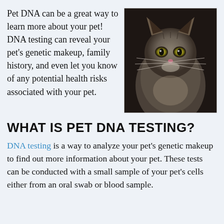Pet DNA can be a great way to learn more about your pet! DNA testing can reveal your pet's genetic makeup, family history, and even let you know of any potential health risks associated with your pet.
[Figure (photo): A fluffy gray/tabby cat looking directly at the camera, photographed in a dark setting]
WHAT IS PET DNA TESTING?
DNA testing is a way to analyze your pet's genetic makeup to find out more information about your pet. These tests can be conducted with a small sample of your pet's cells either from an oral swab or blood sample.